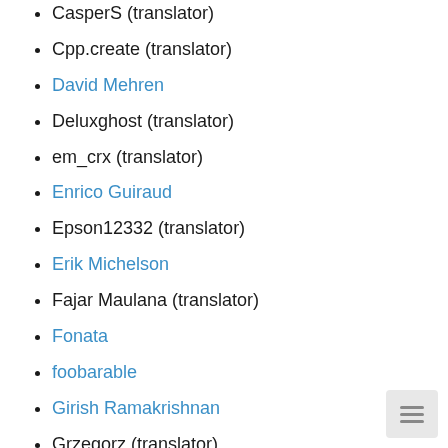CasperS (translator)
Cpp.create (translator)
David Mehren
Deluxghost (translator)
em_crx (translator)
Enrico Guiraud
Epson12332 (translator)
Erik Michelson
Fajar Maulana (translator)
Fonata
foobarable
Girish Ramakrishnan
Grzegorz (translator)
hoijui
Ian Tsai
id7xyz (translator)
iko